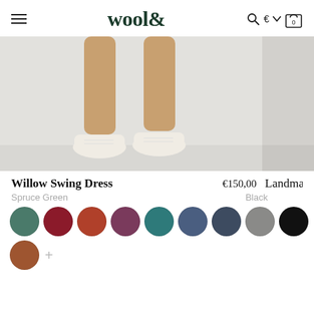wool&
[Figure (photo): Cropped product photo showing lower legs of a model wearing a dress and white sneakers against a light grey background. Partially visible second product photo on the right edge.]
Willow Swing Dress   €150,00
Spruce Green
Black
[Figure (other): Color swatches row: spruce green, dark red/burgundy, terracotta/rust, mauve/purple, teal, slate blue, dark blue-grey, grey, black. Second row: brown/caramel swatch and a + button. On right side: black swatch and grey swatch.]